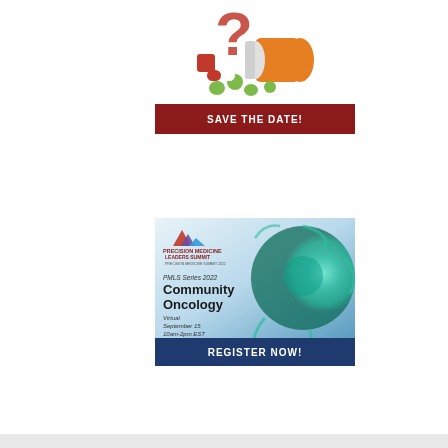[Figure (illustration): Illustration of prescription pills, capsules, and an orange pill bottle with question mark above, with a red 'SAVE THE DATE!' banner below]
[Figure (illustration): Precision Medicine Leaders Summit advertisement showing PMLS logo, a 3D cell/virus image, event details (PMLS Series 2022, Community Oncology, Virtual September 15, 10am-2pm EST), and a navy 'REGISTER NOW!' banner]